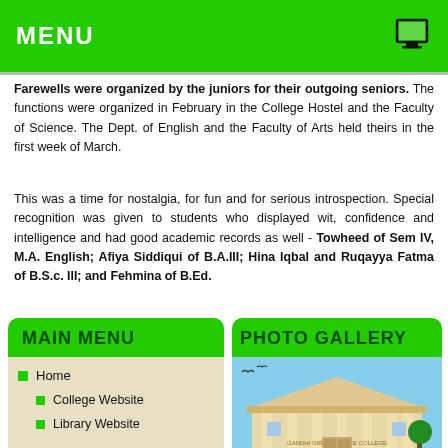MENU
Farewells were organized by the juniors for their outgoing seniors. The functions were organized in February in the College Hostel and the Faculty of Science. The Dept. of English and the Faculty of Arts held theirs in the first week of March.
This was a time for nostalgia, for fun and for serious introspection. Special recognition was given to students who displayed wit, confidence and intelligence and had good academic records as well - Towheed of Sem IV, M.A. English; Afiya Siddiqui of B.A.III; Hina Iqbal and Ruqayya Fatma of B.S.c. III; and Fehmina of B.Ed.
MAIN MENU
Home
College Website
Library Website
PHOTO GALLERY
[Figure (photo): Exterior photo of a college building with classical columns and pediment, appears to be Ganga Devi Degree College or similar institution]